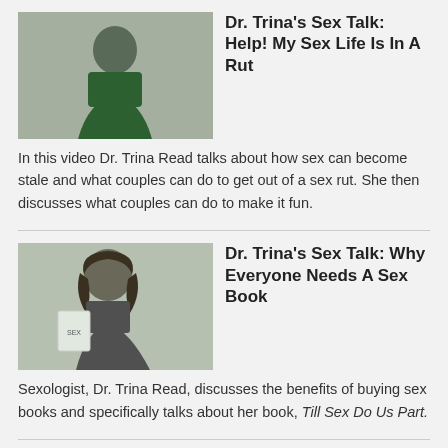[Figure (photo): Thumbnail photo of Dr. Trina Read in a green top against a grey background]
Dr. Trina's Sex Talk: Help! My Sex Life Is In A Rut
In this video Dr. Trina Read talks about how sex can become stale and what couples can do to get out of a sex rut. She then discusses what couples can do to make it fun.
[Figure (photo): Thumbnail photo of Dr. Trina Read holding a book, with curly hair, against a light background]
Dr. Trina's Sex Talk: Why Everyone Needs A Sex Book
Sexologist, Dr. Trina Read, discusses the benefits of buying sex books and specifically talks about her book, Till Sex Do Us Part.
[Figure (screenshot): Video thumbnail with black bar at top and pink lower-third graphic showing '#3' and text about virtual sex]
Dr. Trina's Sex Talk: When Does Virtual Sex Become Cheating?
Online pornography, chat rooms and hooking up are here to stay. As such couples need to understand when virtual